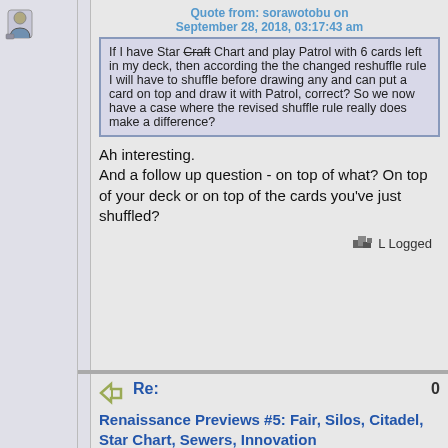[Figure (illustration): User avatar icon (person silhouette)]
Quote from: sorawotobu on September 28, 2018, 03:17:43 am
If I have Star Craft Chart and play Patrol with 6 cards left in my deck, then according the the changed reshuffle rule I will have to shuffle before drawing any and can put a card on top and draw it with Patrol, correct? So we now have a case where the revised shuffle rule really does make a difference?
Ah interesting.
And a follow up question - on top of what? On top of your deck or on top of the cards you've just shuffled?
Logged
AJD
Cartographer
Offline
Posts: 3205
Shuffle iT Username: AJD
Respect: +4276
Re:
0
Renaissance Previews #5: Fair, Silos, Citadel, Star Chart, Sewers, Innovation
[Figure (illustration): User avatar icon (person silhouette)]